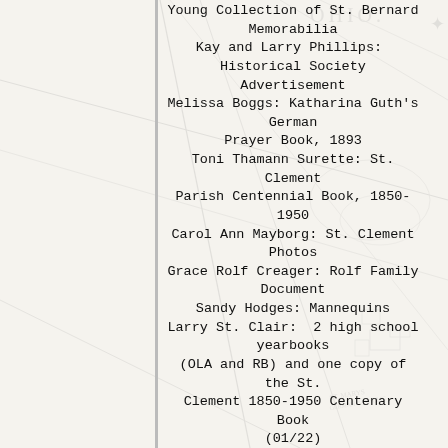[Figure (map): Faded historical map of St. Bernard, Ohio area as background]
Young Collection of St. Bernard Memorabilia
Kay and Larry Phillips:  Historical Society Advertisement
Melissa Boggs: Katharina Guth's German Prayer Book, 1893
Toni Thamann Surette: St. Clement Parish Centennial Book, 1850-1950
Carol Ann Mayborg: St. Clement Photos
Grace Rolf Creager: Rolf Family Document
Sandy Hodges: Mannequins
Larry St. Clair:  2 high school yearbooks (OLA and RB) and one copy of the St. Clement 1850-1950 Centenary Book (01/22)
Deanna Masters:  one St. Bernard high school yearbook (01/22)
Laurie Krusling Knobbe: Mackzum/Koelsch Book donation (2/22)
JoAnn Imholt Young: St. Berhard HS Senior Trip photo (2/22)
Shirley Franke: 2 High School Year